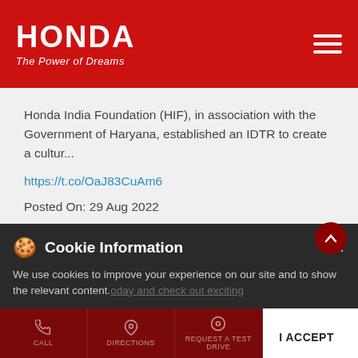HONDA — The Power of Dreams
Honda India Foundation (HIF), in association with the Government of Haryana, established an IDTR to create a cultur...
https://t.co/OaJ83CuAm6
Posted On: 29 Aug 2022
[Figure (infographic): Social share icons: Facebook, Twitter, WhatsApp]
Cookie Information — We use cookies to improve your experience on our site and to show the relevant content.
CALL | DIRECTIONS | REQUEST A TEST DRIVE | I ACCEPT